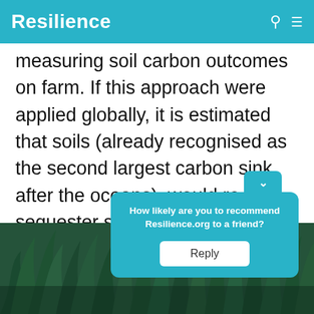Resilience
measuring soil carbon outcomes on farm. If this approach were applied globally, it is estimated that soils (already recognised as the second largest carbon sink after the oceans), would re-sequester significant quantities of the CO2 that have been emitted through the use of fossil fuels over the last 50 years or more.
[Figure (photo): Green plants/grass close-up photograph used as background at the bottom of the page]
How likely are you to recommend Resilience.org to a friend?
Reply